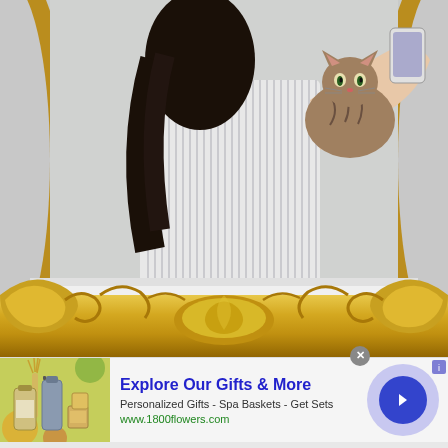[Figure (photo): Mirror selfie photo: a woman in a striped dress holds a tabby cat up near her face while taking a photo in an ornate gold-framed mirror. The mirror has decorative baroque/rococo style golden scrollwork frame visible at bottom.]
[Figure (infographic): Advertisement banner for 1800flowers.com showing gift products (diffuser, candles, bottles) on a colorful floral background. Ad reads: Explore Our Gifts & More. Personalized Gifts - Spa Baskets - Get Sets. www.1800flowers.com. Has a blue circular arrow button and a close X button.]